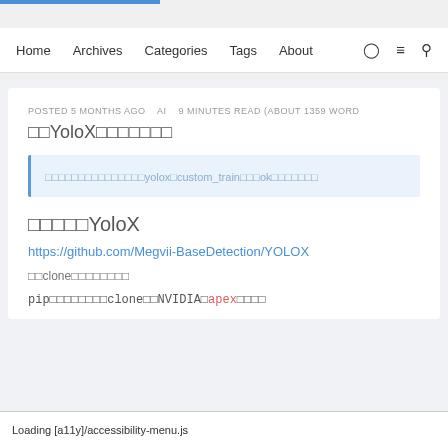Home   Archives   Categories   Tags   About
POSTED 5 MONTHS AGO   AI   9 MINUTES READ (ABOUT 1359 WORD
□□YoloX□□□□□□□
□□□□□□□□□□□□□□□yolox□custom_train□□□ok□□□□□□□
□□□□□YoloX
https://github.com/Megvii-BaseDetection/YOLOX
□□clone□□□□□□□□
pip□□□□□□□□□clone□□NVIDIA□apex□□□□
Loading [a11y]/accessibility-menu.js